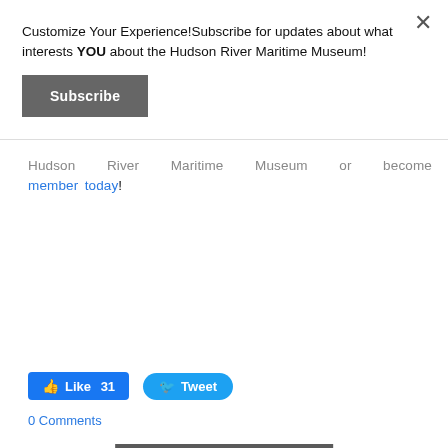Customize Your Experience!Subscribe for updates about what interests YOU about the Hudson River Maritime Museum!
Subscribe
Hudson River Maritime Museum or become a member today!
Donate Now
Join Today
Like 31
Tweet
0 Comments